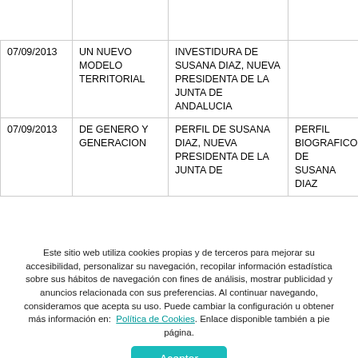|  |  |  |  |
| --- | --- | --- | --- |
|  |  |  |  |
| 07/09/2013 | UN NUEVO MODELO TERRITORIAL | INVESTIDURA DE SUSANA DIAZ, NUEVA PRESIDENTA DE LA JUNTA DE ANDALUCIA |  |
| 07/09/2013 | DE GENERO Y GENERACION | PERFIL DE SUSANA DIAZ, NUEVA PRESIDENTA DE LA JUNTA DE | PERFIL BIOGRAFICO DE SUSANA DIAZ |
Este sitio web utiliza cookies propias y de terceros para mejorar su accesibilidad, personalizar su navegación, recopilar información estadística sobre sus hábitos de navegación con fines de análisis, mostrar publicidad y anuncios relacionada con sus preferencias. Al continuar navegando, consideramos que acepta su uso. Puede cambiar la configuración u obtener más información en: Política de Cookies. Enlace disponible también a pie página.